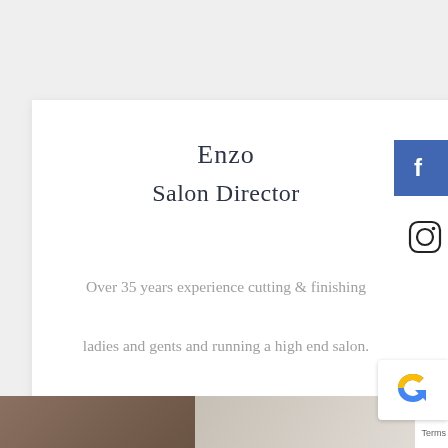Enzo
Salon Director
Over 35 years experience cutting & finishing ladies and gents and running a high end salon.

P.O.A.